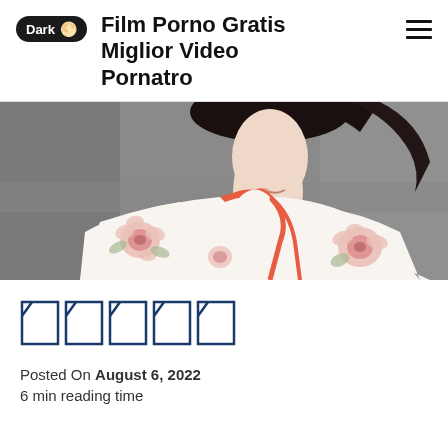Film Porno Gratis Miglior Video Pornatro
[Figure (photo): Young woman wearing a white floral kimono with red trim, face partially visible, against a grey concrete background]
□□□□□
Posted On August 6, 2022
6 min reading time